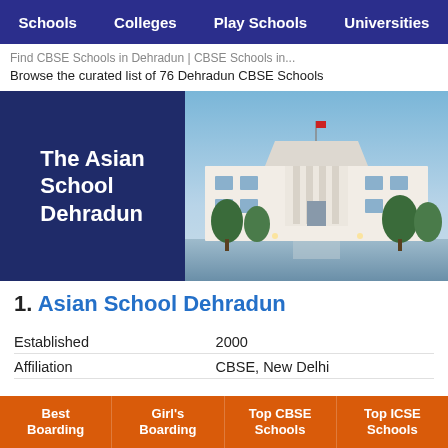Schools   Colleges   Play Schools   Universities
Browse the curated list of 76 Dehradun CBSE Schools
[Figure (photo): The Asian School Dehradun building exterior — left half shows school name text overlay on dark blue background, right half shows a large white colonial-style school building with columns and trees under a blue sky]
1. Asian School Dehradun
| Established | 2000 |
| Affiliation | CBSE, New Delhi |
Best Boarding   Girl's Boarding   Top CBSE Schools   Top ICSE Schools